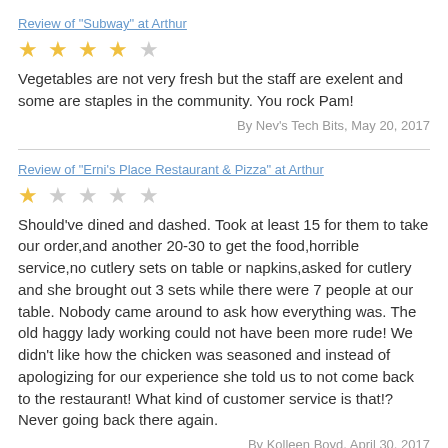Review of "Subway" at Arthur
[Figure (other): 4 out of 5 stars rating]
Vegetables are not very fresh but the staff are exelent and some are staples in the community. You rock Pam!
By Nev's Tech Bits, May 20, 2017
Review of "Erni's Place Restaurant & Pizza" at Arthur
[Figure (other): 1 out of 5 stars rating]
Should've dined and dashed. Took at least 15 for them to take our order,and another 20-30 to get the food,horrible service,no cutlery sets on table or napkins,asked for cutlery and she brought out 3 sets while there were 7 people at our table. Nobody came around to ask how everything was. The old haggy lady working could not have been more rude! We didn't like how the chicken was seasoned and instead of apologizing for our experience she told us to not come back to the restaurant! What kind of customer service is that!? Never going back there again.
By Kolleen Boyd, April 30, 2017